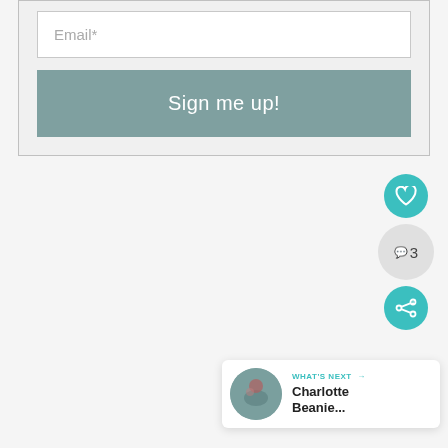[Figure (screenshot): Email input field with placeholder text 'Email*' inside a light gray bordered card]
[Figure (screenshot): Teal 'Sign me up!' button below the email input field]
[Figure (screenshot): Floating teal heart icon button on the right side]
[Figure (screenshot): Gray circle with number 3 and a comment/reply icon]
[Figure (screenshot): Teal share icon button]
[Figure (screenshot): 'What's Next' card at the bottom right showing thumbnail and text 'Charlotte Beanie...']